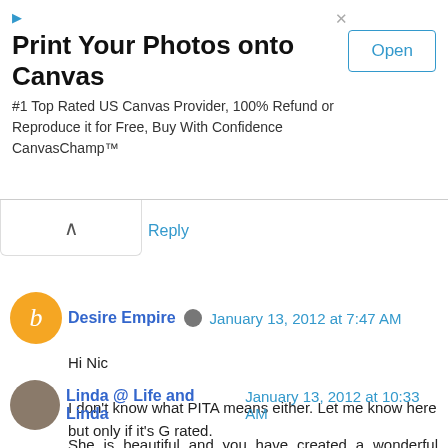[Figure (screenshot): Advertisement banner: 'Print Your Photos onto Canvas' with Open button. #1 Top Rated US Canvas Provider, 100% Refund or Reproduce it for Free, Buy With Confidence CanvasChamp™]
Reply
Desire Empire  January 13, 2012 at 7:47 AM
Hi Nic

I don't know what PITA means either. Let me know here but only if it's G rated.

Best Caz XX

Reply
Linda @ Life and Linda  January 13, 2012 at 10:33 AM
She is beautiful and you have created a wonderful masterpiece. The birds are so cute. You are just too